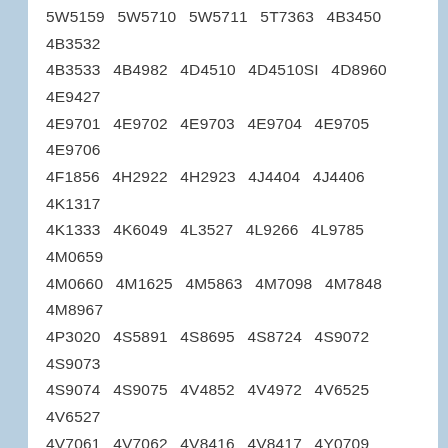5W5159 5W5710 5W5711 5T7363 4B3450 4B3532 4B3533 4B4982 4D4510 4D4510SI 4D8960 4E9427 4E9701 4E9702 4E9703 4E9704 4E9705 4E9706 4F1856 4H2922 4H2923 4J4404 4J4406 4K1317 4K1333 4K6049 4L3527 4L9266 4L9785 4M0659 4M0660 4M1625 4M5863 4M7098 4M7848 4M8967 4P3020 4S5891 4S8695 4S8724 4S9072 4S9073 4S9074 4S9075 4V4852 4V4972 4V6525 4V6527 4V7061 4V7062 4V8416 4V8417 4Y0709 5C0857 5D6327 5D6328 5D6329 5D8526 5F7048 5H0047 5H0048 5H2307 5H2311 5H5274 5H6030 5H8530 5K0664 5K1078 5K1903 5K4587 5K5288 5K8616 5K8617 5K8617Si 5L3602 5L3603 5M0549 5M1176 5M1177 5M1199 5M2096 5M3470 5M3945 5M3947 5M3948 5M3996 5M3998 5M3999 5M4427 5M4470 5M6112 5M6119 5M6129 5M6132 5M6210 5M6211